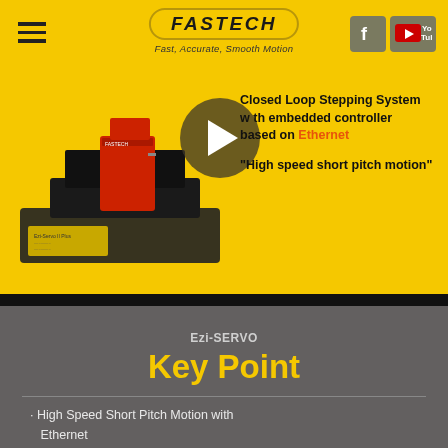[Figure (logo): FASTECH logo with oval border and tagline 'Fast, Accurate, Smooth Motion']
[Figure (photo): Ezi-SERVO product and closed loop stepping system with embedded controller. Play button overlay indicating video. Text: 'Closed Loop Stepping System with embedded controller based on Ethernet' and quote '"High speed short pitch motion"']
Ezi-SERVO
Key Point
· High Speed Short Pitch Motion with Ethernet